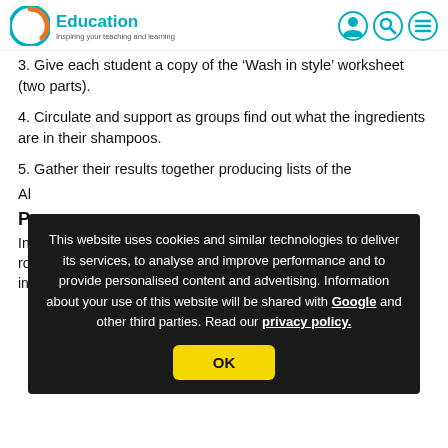C Education – Inspiring your teaching and learning
3. Give each student a copy of the 'Wash in style' worksheet (two parts).
4. Circulate and support as groups find out what the ingredients are in their shampoos.
5. Gather their results together producing lists of the
Al
P
In ro
ingredients database'):
This website uses cookies and similar technologies to deliver its services, to analyse and improve performance and to provide personalised content and advertising. Information about your use of this website will be shared with Google and other third parties. Read our privacy policy.